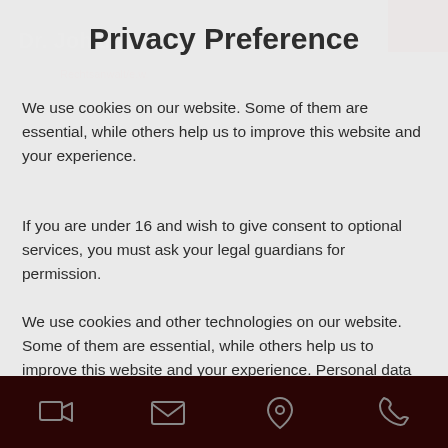Privacy Preference
We use cookies on our website. Some of them are essential, while others help us to improve this website and your experience.
If you are under 16 and wish to give consent to optional services, you must ask your legal guardians for permission.
We use cookies and other technologies on our website. Some of them are essential, while others help us to improve this website and your experience. Personal data may be processed (e.g. IP addresses), for example for personalized ads and content or ad and content measurement. You can find more information about the use of your data in our
✓ Essential
External Media